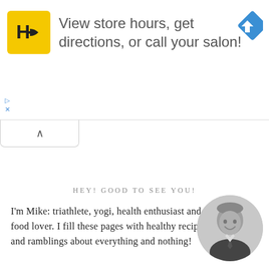[Figure (logo): Advertisement banner with HC logo (yellow square with H and C letters) and text: View store hours, get directions, or call your salon! with a blue navigation arrow icon on the right.]
HEY! GOOD TO SEE YOU!
I'm Mike: triathlete, yogi, health enthusiast and food lover. I fill these pages with healthy recipes and ramblings about everything and nothing!
[Figure (photo): Circular black and white photo of a smiling man in a suit.]